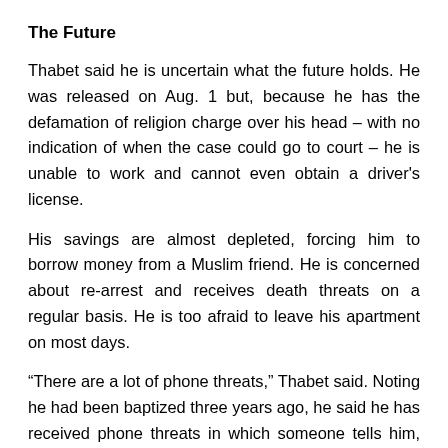The Future
Thabet said he is uncertain what the future holds. He was released on Aug. 1 but, because he has the defamation of religion charge over his head – with no indication of when the case could go to court – he is unable to work and cannot even obtain a driver's license.
His savings are almost depleted, forcing him to borrow money from a Muslim friend. He is concerned about re-arrest and receives death threats on a regular basis. He is too afraid to leave his apartment on most days.
“There are a lot of phone threats,” Thabet said. Noting he had been baptized three years ago, he said he has received phone threats in which someone tells him, “We are going to baptize you again with blood.”